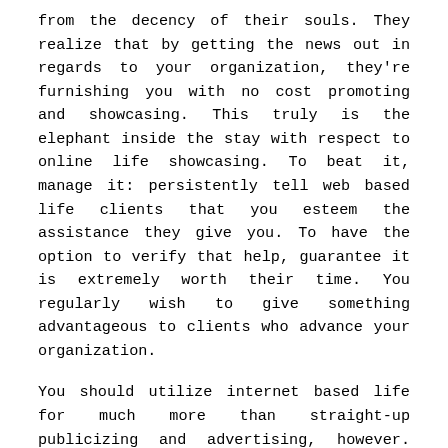from the decency of their souls. They realize that by getting the news out in regards to your organization, they're furnishing you with no cost promoting and showcasing. This truly is the elephant inside the stay with respect to online life showcasing. To beat it, manage it: persistently tell web based life clients that you esteem the assistance they give you. To have the option to verify that help, guarantee it is extremely worth their time. You regularly wish to give something advantageous to clients who advance your organization.
You should utilize internet based life for much more than straight-up publicizing and advertising, however. Internet based life systems give you a great opportunity to construct a more grounded association with all your present customers and bring them closer to you. By and by, the primary managing fundamental standard should offer some benefit as a byproduct of intrigue. You can give customers who contact you through your current your organization destination a